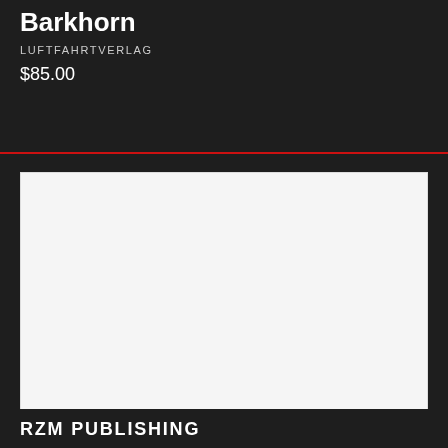Fighter Pilot Gerhard Barkhorn
LUFTFAHRTVERLAG
$85.00
[Figure (photo): White/blank image placeholder area]
RZM PUBLISHING